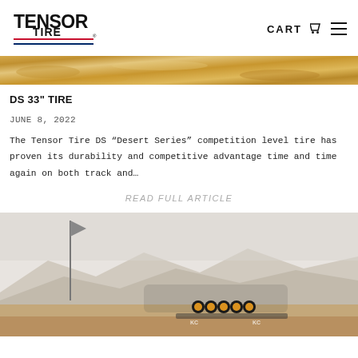TENSOR TIRE — CART ☰
[Figure (photo): Sandy/golden terrain strip image — cropped hero image of desert landscape]
DS 33" TIRE
JUNE 8, 2022
The Tensor Tire DS “Desert Series” competition level tire has proven its durability and competitive advantage time and time again on both track and…
READ FULL ARTICLE
[Figure (photo): Off-road vehicle racing in desert terrain with a flag pole visible on the left and KC light bar on the front of the vehicle]